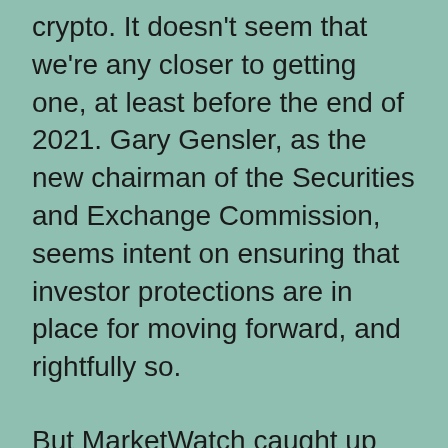crypto. It doesn't seem that we're any closer to getting one, at least before the end of 2021. Gary Gensler, as the new chairman of the Securities and Exchange Commission, seems intent on ensuring that investor protections are in place for moving forward, and rightfully so.
But MarketWatch caught up with Matt Hougan, chief investment officer of Bitwise Asset Management, formerly the chief executive officer of ETF.com, whose new fund may hold some appeal for those pining for a bitcoin ETF. One selling point, is that the fund may retain its